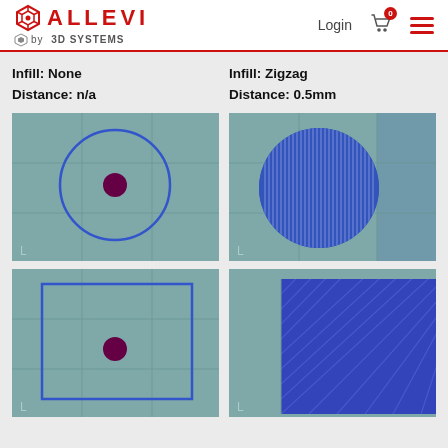ALLEVI by 3D SYSTEMS — Login navigation header
Infill: None
Distance: n/a
Infill: Zigzag
Distance: 0.5mm
[Figure (engineering-diagram): 3D printing slicing view: circle outline with small magenta dot center on teal grid background — no infill]
[Figure (engineering-diagram): 3D printing slicing view: circle filled with vertical zigzag blue lines on teal grid background — 0.5mm infill]
[Figure (engineering-diagram): 3D printing slicing view: rectangle outline with small magenta dot center on teal grid background — no infill]
[Figure (engineering-diagram): 3D printing slicing view: rectangle filled with diagonal blue hatching on teal grid — 0.5mm infill]